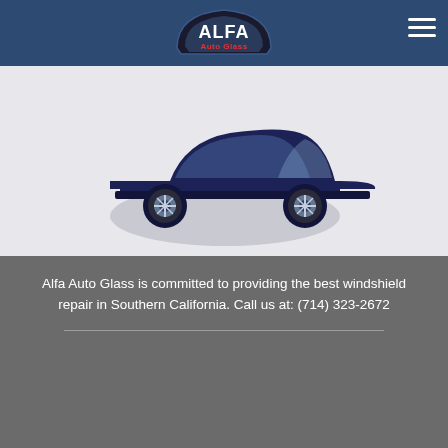[Figure (logo): Alfa Auto Glass logo on dark blue header bar with hamburger menu icon on right]
[Figure (illustration): Dark navy blue sedan car illustration on light gray background, cropped showing side profile]
Alfa Auto Glass is committed to providing the best windshield repair in Southern California. Call us at: (714) 323-2672